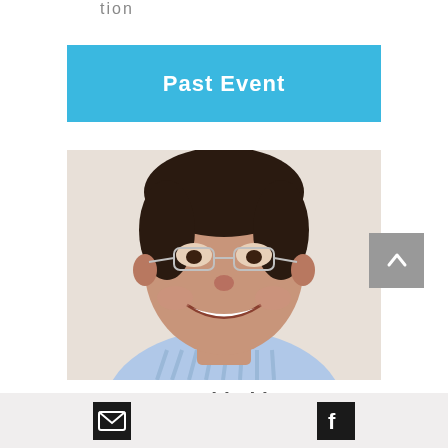Past Event
[Figure (photo): Headshot of a smiling man with glasses and short dark hair, wearing a blue and white striped shirt]
Investor Panel led by ODED
Email icon and Facebook icon